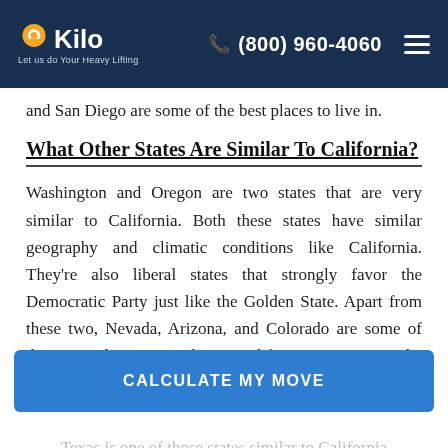Kilo — Let us do Your Heavy Lifting | (800) 960-4060
and San Diego are some of the best places to live in.
What Other States Are Similar To California?
Washington and Oregon are two states that are very similar to California. Both these states have similar geography and climatic conditions like California. They're also liberal states that strongly favor the Democratic Party just like the Golden State. Apart from these two, Nevada, Arizona, and Colorado are some of the states that are similar to California in some or the other aspect.
CALCULATE MY MOVE
Texas is one of those states similar to California...